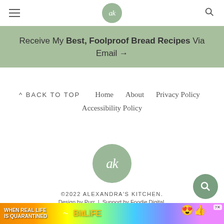ak (logo header with hamburger menu and search icon)
Receive My Best, Foolproof Bread Recipes Via Email →
^ BACK TO TOP   Home   About   Privacy Policy   Accessibility Policy
[Figure (logo): Alexandra's Kitchen circular logo with stylized 'ak' in white on sage green background]
©2022 ALEXANDRA'S KITCHEN.
Design by Purr | Support by Foodie Digital.
[Figure (other): BitLife advertisement banner: 'WHEN REAL LIFE IS QUARANTINED' with rainbow gradient background]